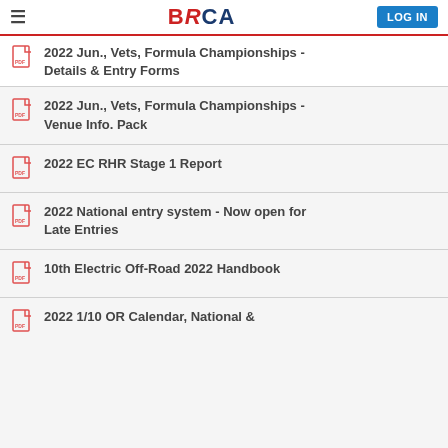BRCA LOG IN
2022 Jun., Vets, Formula Championships - Details & Entry Forms
2022 Jun., Vets, Formula Championships - Venue Info. Pack
2022 EC RHR Stage 1 Report
2022 National entry system - Now open for Late Entries
10th Electric Off-Road 2022 Handbook
2022 1/10 OR Calendar, National &